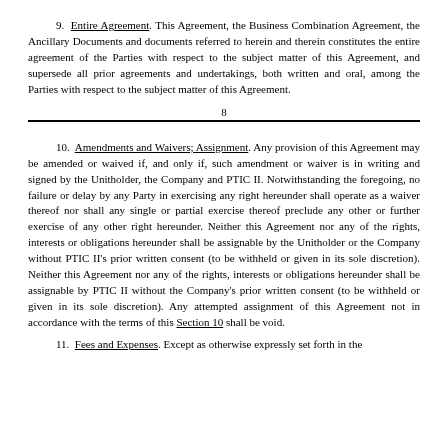9. Entire Agreement. This Agreement, the Business Combination Agreement, the Ancillary Documents and documents referred to herein and therein constitutes the entire agreement of the Parties with respect to the subject matter of this Agreement, and supersede all prior agreements and undertakings, both written and oral, among the Parties with respect to the subject matter of this Agreement.
8
10. Amendments and Waivers; Assignment. Any provision of this Agreement may be amended or waived if, and only if, such amendment or waiver is in writing and signed by the Unitholder, the Company and PTIC II. Notwithstanding the foregoing, no failure or delay by any Party in exercising any right hereunder shall operate as a waiver thereof nor shall any single or partial exercise thereof preclude any other or further exercise of any other right hereunder. Neither this Agreement nor any of the rights, interests or obligations hereunder shall be assignable by the Unitholder or the Company without PTIC II's prior written consent (to be withheld or given in its sole discretion). Neither this Agreement nor any of the rights, interests or obligations hereunder shall be assignable by PTIC II without the Company's prior written consent (to be withheld or given in its sole discretion). Any attempted assignment of this Agreement not in accordance with the terms of this Section 10 shall be void.
11. Fees and Expenses. Except as otherwise expressly set forth in the